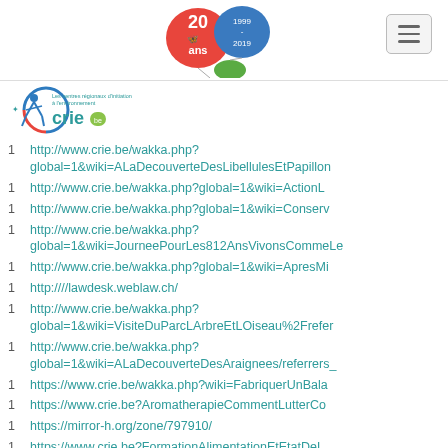CRIE.be navigation header with 20 ans logo (1999-2019) and menu button
[Figure (logo): CRIE logo - Les centres regionaux d'initiation a l'environnement, with stylized figure and crie.be text]
1  http://www.crie.be/wakka.php?global=1&wiki=ALaDecouverteDesLibellulesEtPapillon
1  http://www.crie.be/wakka.php?global=1&wiki=ActionL
1  http://www.crie.be/wakka.php?global=1&wiki=Conserv
1  http://www.crie.be/wakka.php?global=1&wiki=JourneePourLes812AnsVivonsCommeLe
1  http://www.crie.be/wakka.php?global=1&wiki=ApresMi
1  http:////lawdesk.weblaw.ch/
1  http://www.crie.be/wakka.php?global=1&wiki=VisiteDuParcLArbreEtLOiseau%2Frefer
1  http://www.crie.be/wakka.php?global=1&wiki=ALaDecouverteDesAraignees/referrers_
1  https://www.crie.be/wakka.php?wiki=FabriquerUnBala
1  https://www.crie.be?AromatherapieCommentLutterCo
1  https://mirror-h.org/zone/797910/
1  https://www.crie.be?FormationAlimentationEtEtatDeL
1  https://www.crie.be?AllumageDuFourBanal3
1  https://www.crie.be/wakka.php?wiki=AtelierMultiplion
1  https://www.crie.be?ALaDecouverteDesPapillonsEtDes